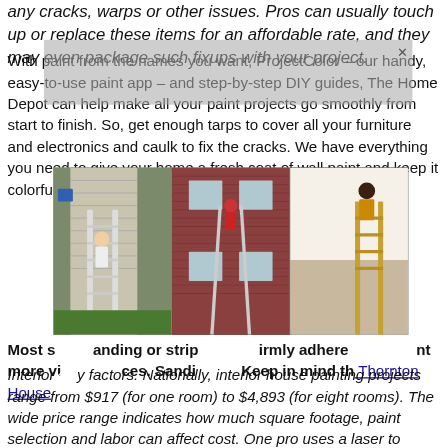any cracks, warps or other issues. Pros can usually touch up or replace these items for an affordable rate, and they may even package such fixups with your project.
With paint from the names you want, ProjectColor – our handy, easy-to-use paint app – and step-by-step DIY guides, The Home Depot can help make all your paint projects go smoothly from start to finish. So, get enough tarps to cover all your furniture and electronics and caulk to fix the cracks. We have everything you need to give your home a fresh coat of wall paint and keep it colorful inside and out. Thornton House Painters
[Figure (photo): Three photos side by side showing house painters working on ladders on the exterior and interior of homes]
Most surfaces can be repainted without sanding or stripping old paint, as long as the paint is firmly adhered to the surface. Although, adding more will make the paint less likely to adhere to surfaces. Sanding old paint can also help. Keep in mind that Thornton House Painters
Interior house painting costs vary by many factors. Nationally, interior house painting projects range from $917 (for one room) to $4,893 (for eight rooms). The wide price range indicates how much square footage, paint selection and labor can affect cost. One pro uses a laser to measure each room, subtracting the size of the doors and